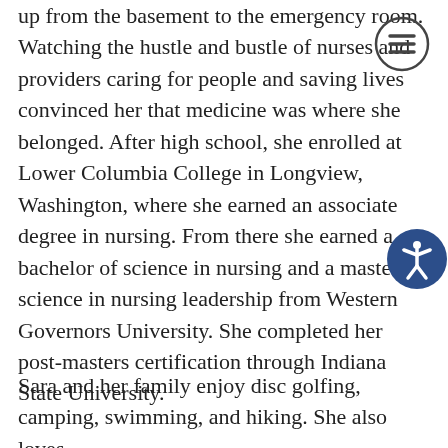up from the basement to the emergency room. Watching the hustle and bustle of nurses and providers caring for people and saving lives convinced her that medicine was where she belonged. After high school, she enrolled at Lower Columbia College in Longview, Washington, where she earned an associate degree in nursing. From there she earned a bachelor of science in nursing and a master of science in nursing leadership from Western Governors University. She completed her post-masters certification through Indiana State University.
Sara and her family enjoy disc golfing, camping, swimming, and hiking. She also loves
[Figure (other): Hamburger menu icon (three horizontal lines) in a circle, top right corner]
[Figure (other): Accessibility icon (person in circle) bottom right corner]